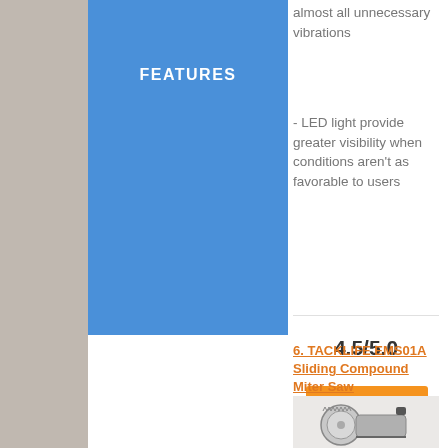almost all unnecessary vibrations
FEATURES
- LED light provide greater visibility when conditions aren't as favorable to users
EDITOR'S RATING
4.5/5.0
Check Deals
6. TACKLIFE EMS01A Sliding Compound Miter Saw
MITER SAW
[Figure (photo): TACKLIFE EMS01A Sliding Compound Miter Saw product image showing the saw with blade and handle visible]